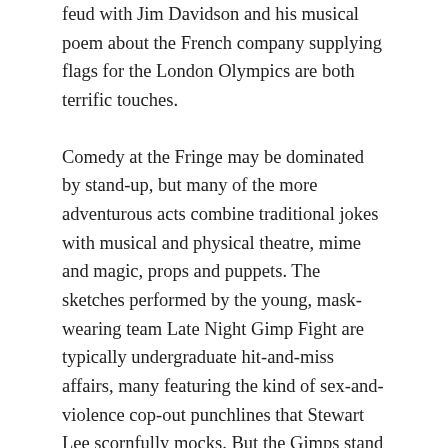feud with Jim Davidson and his musical poem about the French company supplying flags for the London Olympics are both terrific touches.
Comedy at the Fringe may be dominated by stand-up, but many of the more adventurous acts combine traditional jokes with musical and physical theatre, mime and magic, props and puppets. The sketches performed by the young, mask-wearing team Late Night Gimp Fight are typically undergraduate hit-and-miss affairs, many featuring the kind of sex-and-violence cop-out punchlines that Stewart Lee scornfully mocks. But the Gimps stand out thanks to a witty selection of doctored video clips and musical numbers, including a brilliant chorus of fluorescent toilet seats singing Stand By Me.
Also pushing the limits of sketch comedy is the US duo The Pajama Men, whose quickfire show In the Middle of No One is a